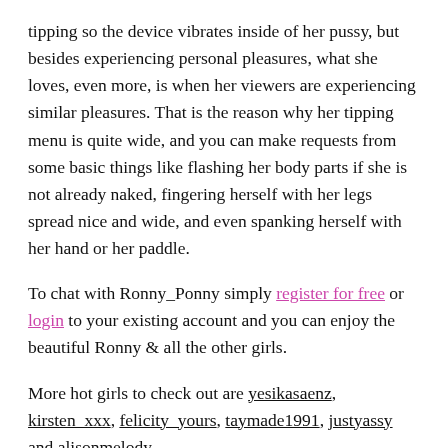tipping so the device vibrates inside of her pussy, but besides experiencing personal pleasures, what she loves, even more, is when her viewers are experiencing similar pleasures. That is the reason why her tipping menu is quite wide, and you can make requests from some basic things like flashing her body parts if she is not already naked, fingering herself with her legs spread nice and wide, and even spanking herself with her hand or her paddle.
To chat with Ronny_Ponny simply register for free or login to your existing account and you can enjoy the beautiful Ronny & all the other girls.
More hot girls to check out are yesikasaenz, kirsten_xxx, felicity_yours, taymade1991, justyassy and alisonmelody.
Continue reading